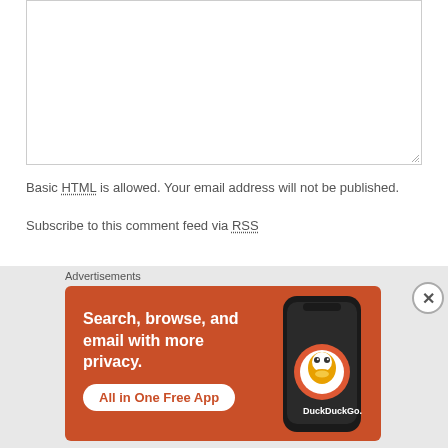[Figure (screenshot): Empty textarea input box with resize handle at bottom right]
Basic HTML is allowed. Your email address will not be published.
Subscribe to this comment feed via RSS
Name:
[Figure (screenshot): Name text input field]
[Figure (advertisement): DuckDuckGo advertisement banner: Search, browse, and email with more privacy. All in One Free App. Shows DuckDuckGo logo on a phone.]